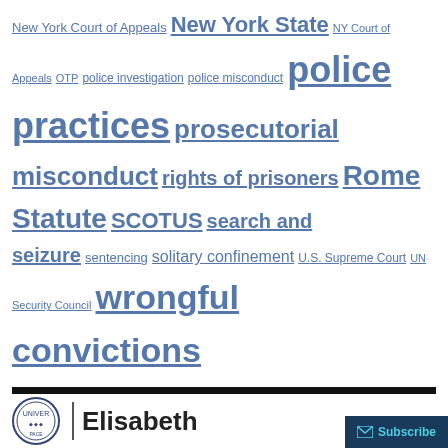New York Court of Appeals New York State NY Court of Appeals OTP police investigation police misconduct police practices prosecutorial misconduct rights of prisoners Rome Statute SCOTUS search and seizure sentencing solitary confinement U.S. Supreme Court UN Security Council wrongful convictions
META
Log in
Entries RSS
Comments RSS
Pace University Blogs
[Figure (logo): Pace University circular seal logo and Elisabeth text with Subscribe button]
Subscribe